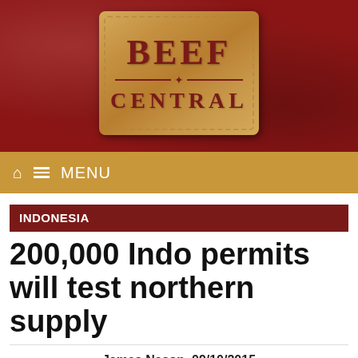[Figure (logo): Beef Central logo on leather-textured dark red background. Badge-shaped with tan/leather colored rectangle showing 'BEEF' in large serif letters, decorative divider, and 'CENTRAL' text below.]
MENU
INDONESIA
200,000 Indo permits will test northern supply
James Nason, 09/10/2015